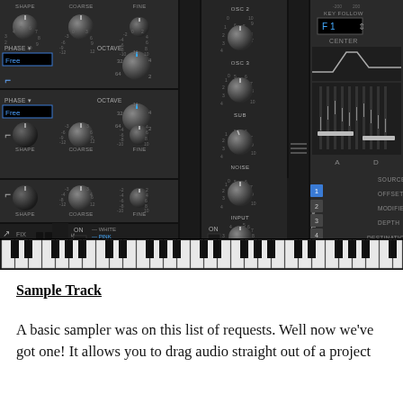[Figure (screenshot): Screenshot of a synthesizer plugin interface showing oscillator controls, oscillator mix panel with knobs for OSC 2, OSC 3, SUB, NOISE, INPUT sections, a FILTER panel with KEY FOLLOW and CENTER controls, filter shape display, EQ faders with A and D labels, a MATRIX panel with numbered slots 1-4 showing SOURCE, OFFSET, MODIFIER, DEPTH, DESTINATION labels, a NOISE section with WHITE/PINK/WHITE BPF/PINK BPF type options, ON buttons, RING modulator, and a piano keyboard at the bottom.]
Sample Track
A basic sampler was on this list of requests. Well now we've got one! It allows you to drag audio straight out of a project